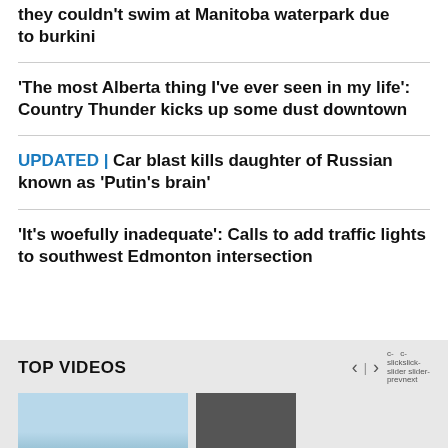they couldn't swim at Manitoba waterpark due to burkini
'The most Alberta thing I've ever seen in my life': Country Thunder kicks up some dust downtown
UPDATED | Car blast kills daughter of Russian known as 'Putin's brain'
'It's woefully inadequate': Calls to add traffic lights to southwest Edmonton intersection
TOP VIDEOS
[Figure (photo): Video thumbnail showing a road sign, light blue sky background]
[Figure (photo): Dark video thumbnail]